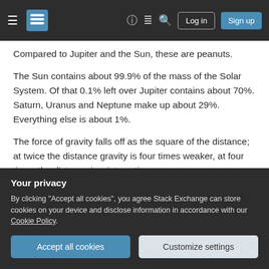Stack Exchange navigation bar with Log in and Sign up buttons
Compared to Jupiter and the Sun, these are peanuts.
The Sun contains about 99.9% of the mass of the Solar System. Of that 0.1% left over Jupiter contains about 70%. Saturn, Uranus and Neptune make up about 29%. Everything else is about 1%.
The force of gravity falls off as the square of the distance; at twice the distance gravity is four times weaker, at four times the distance its sixteen times...
Your privacy
By clicking "Accept all cookies", you agree Stack Exchange can store cookies on your device and disclose information in accordance with our Cookie Policy.
Accept all cookies | Customize settings